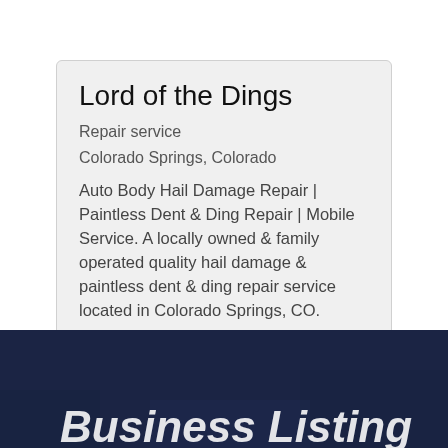Lord of the Dings
Repair service
Colorado Springs, Colorado
Auto Body Hail Damage Repair | Paintless Dent & Ding Repair | Mobile Service. A locally owned & family operated quality hail damage & paintless dent & ding repair service located in Colorado Springs, CO.
[Figure (photo): Dark navy blue textured background section at the bottom of the page with partial white italic bold text visible at the bottom edge]